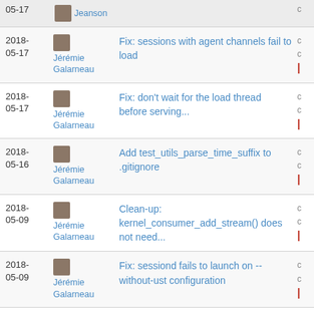| Date | Author | Message |  |
| --- | --- | --- | --- |
| 2018-05-17 | Jérémie Galarneau | Fix: sessions with agent channels fail to load | c |
| 2018-05-17 | Jérémie Galarneau | Fix: don't wait for the load thread before serving... | c |
| 2018-05-16 | Jérémie Galarneau | Add test_utils_parse_time_suffix to .gitignore | c |
| 2018-05-09 | Jérémie Galarneau | Clean-up: kernel_consumer_add_stream() does not need... | c |
| 2018-05-09 | Jérémie Galarneau | Fix: sessiond fails to launch on --without-ust configuration | c |
| 2018-05-09 | Jérémie Galarneau | Fix: agent thread poll set creation failure results... | c |